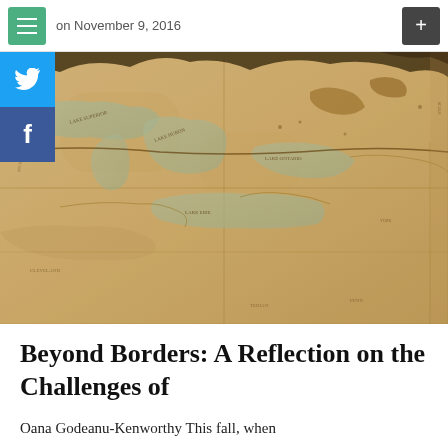on November 9, 2016
[Figure (map): Historical map showing the Great Lakes region including Lake Erie, Lake Ontario, and surrounding territory with faded parchment-like coloring and hand-drawn cartographic style]
Beyond Borders: A Reflection on the Challenges of
Oana Godeanu-Kenworthy This fall, when